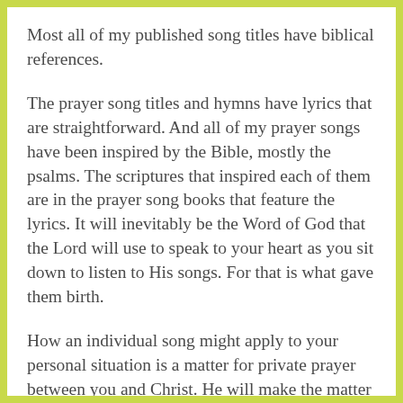Most all of my published song titles have biblical references.
The prayer song titles and hymns have lyrics that are straightforward. And all of my prayer songs have been inspired by the Bible, mostly the psalms. The scriptures that inspired each of them are in the prayer song books that feature the lyrics. It will inevitably be the Word of God that the Lord will use to speak to your heart as you sit down to listen to His songs. For that is what gave them birth.
How an individual song might apply to your personal situation is a matter for private prayer between you and Christ. He will make the matter plain to you. Trust the Lord Jesus.